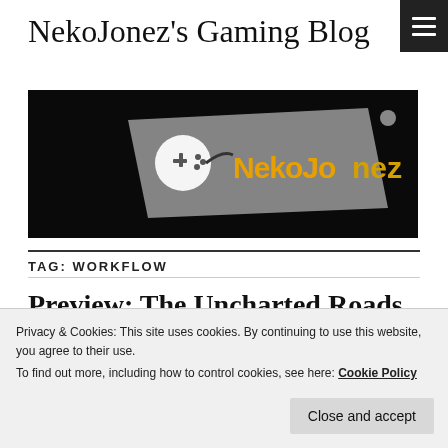NekoJonez's Gaming Blog
[Figure (logo): NekoJonez logo on dark background with game controller graphic and orange/yellow gradient text]
TAG: WORKFLOW
Preview: The Uncharted Roads of Marco Polo (PC)
Privacy & Cookies: This site uses cookies. By continuing to use this website, you agree to their use.
To find out more, including how to control cookies, see here: Cookie Policy
Close and accept